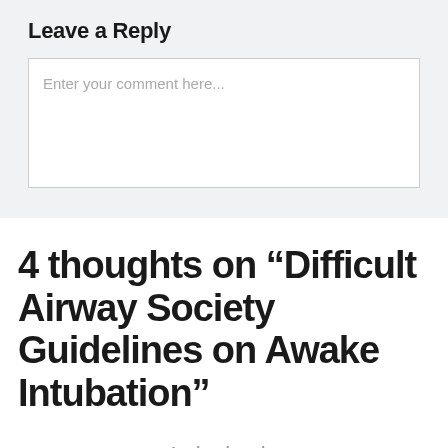Leave a Reply
Enter your comment here...
4 thoughts on “Difficult Airway Society Guidelines on Awake Intubation”
4 pingbacks